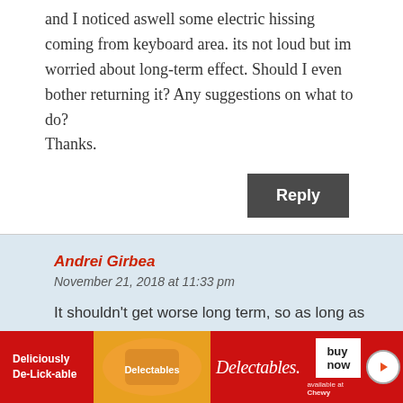and I noticed aswell some electric hissing coming from keyboard area. its not loud but im worried about long-term effect. Should I even bother returning it? Any suggestions on what to do?
Thanks.
Reply
Andrei Girbea
November 21, 2018 at 11:33 pm
It shouldn't get worse long term, so as long as you can live with it, just accept it and move along. There's no guarantee you won't get the same or worse if you ask for a replacement.
[Figure (other): Advertisement banner for Delectables cat treats on Chewy. Red background with orange circle containing product image, Delectables cursive logo, buy now button, and available at Chewy text.]